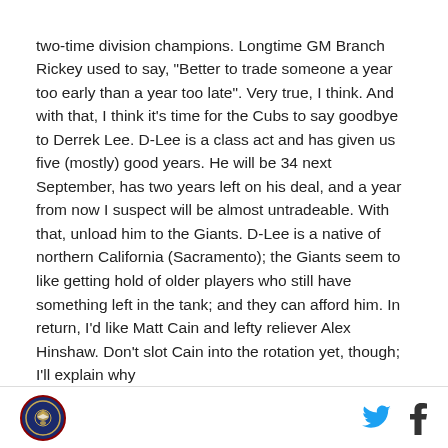two-time division champions. Longtime GM Branch Rickey used to say, "Better to trade someone a year too early than a year too late". Very true, I think. And with that, I think it's time for the Cubs to say goodbye to Derrek Lee. D-Lee is a class act and has given us five (mostly) good years. He will be 34 next September, has two years left on his deal, and a year from now I suspect will be almost untradeable. With that, unload him to the Giants. D-Lee is a native of northern California (Sacramento); the Giants seem to like getting hold of older players who still have something left in the tank; and they can afford him. In return, I'd like Matt Cain and lefty reliever Alex Hinshaw. Don't slot Cain into the rotation yet, though; I'll explain why
[logo] [twitter] [facebook]